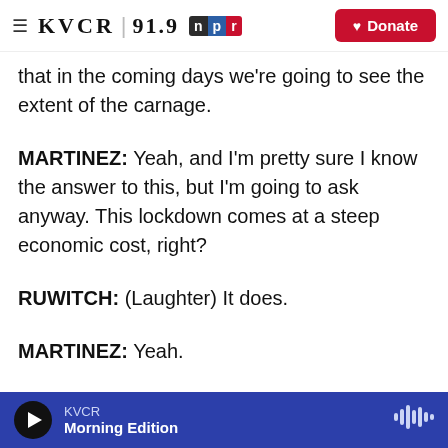KVCR 91.9 NPR | Donate
that in the coming days we're going to see the extent of the carnage.
MARTINEZ: Yeah, and I'm pretty sure I know the answer to this, but I'm going to ask anyway. This lockdown comes at a steep economic cost, right?
RUWITCH: (Laughter) It does.
MARTINEZ: Yeah.
RUWITCH: Shanghai's a big city. It's cosmopolitan. It's in the spotlight. People around the world know it. But it is just one of many cities in China...
KVCR | Morning Edition